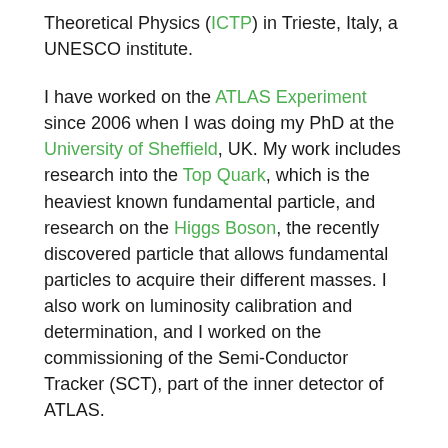Theoretical Physics (ICTP) in Trieste, Italy, a UNESCO institute.
I have worked on the ATLAS Experiment since 2006 when I was doing my PhD at the University of Sheffield, UK. My work includes research into the Top Quark, which is the heaviest known fundamental particle, and research on the Higgs Boson, the recently discovered particle that allows fundamental particles to acquire their different masses. I also work on luminosity calibration and determination, and I worked on the commissioning of the Semi-Conductor Tracker (SCT), part of the inner detector of ATLAS.
I am interested in public engagement with physics, in particular to reach those who might have less access to science or are a minority in the field. I work with the widening participation team at the University of Sussex to run physics workshops for young people. I was also